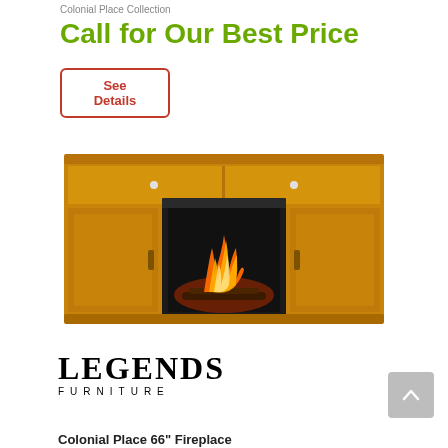Colonial Place Collection
Call for Our Best Price
See Details
[Figure (photo): Wood TV console/media cabinet with built-in electric fireplace insert showing glowing flames. The cabinet has two sets of cabinet doors on either side and an open shelf at the top.]
[Figure (logo): Legends Furniture logo — large serif LEGENDS text above smaller spaced FURNITURE text]
Colonial Place 66" Fireplace